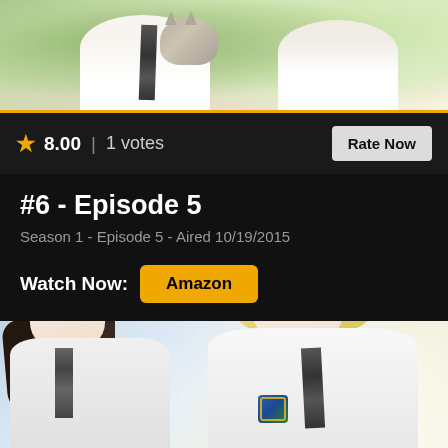[Figure (photo): Top portion of TV show episode page showing two people and a cat, partially cropped]
★ 8.00 | 1 votes
Rate Now
#6 - Episode 5
Season 1 - Episode 5 - Aired 10/19/2015
Watch Now: Amazon
[Figure (photo): Bottom portion showing two actors in school uniforms, one with blonde hair leaning toward a girl with dark hair]